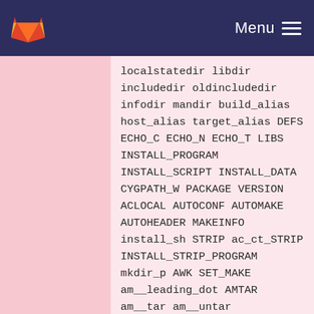GitLab Menu
localstatedir libdir includedir oldincludedir infodir mandir build_alias host_alias target_alias DEFS ECHO_C ECHO_N ECHO_T LIBS INSTALL_PROGRAM INSTALL_SCRIPT INSTALL_DATA CYGPATH_W PACKAGE VERSION ACLOCAL AUTOCONF AUTOMAKE AUTOHEADER MAKEINFO install_sh STRIP ac_ct_STRIP INSTALL_STRIP_PROGRAM mkdir_p AWK SET_MAKE am__leading_dot AMTAR am__tar am__untar MAINTAINER_MODE_TRUE MAINTAINER_MODE_FALSE MAINT AMDIS_DEBUG_TRUE AMDIS_DEBUG_FALSE CXX CC AMDIS_INTEL_TRUE AMDIS_INTEL_FALSE AMDIS_OPENMP_TRUE AMDIS_OPENMP_FALSE OPENMP_FLAG MPI_DIR PETSC_DIR USE_PARALLEL AMDIS_TRUE